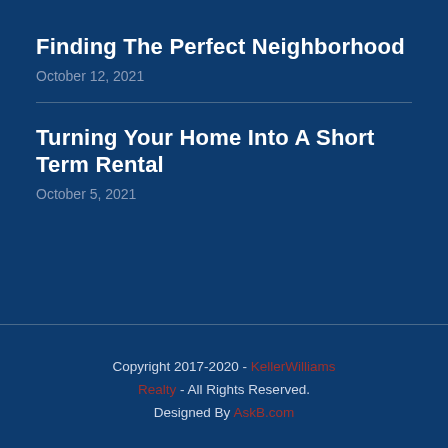Finding The Perfect Neighborhood
October 12, 2021
Turning Your Home Into A Short Term Rental
October 5, 2021
Copyright 2017-2020 - KellerWilliams Realty - All Rights Reserved. Designed By AskB.com